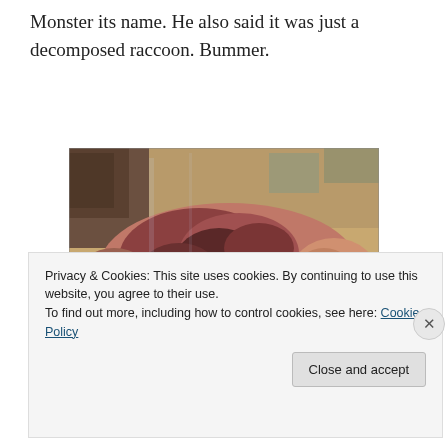Monster its name. He also said it was just a decomposed raccoon. Bummer.
[Figure (photo): A decomposed animal (identified as the Montauk Monster) displayed on a table under glass, with a label card reading 'Montauk Monster']
Privacy & Cookies: This site uses cookies. By continuing to use this website, you agree to their use.
To find out more, including how to control cookies, see here: Cookie Policy
Close and accept